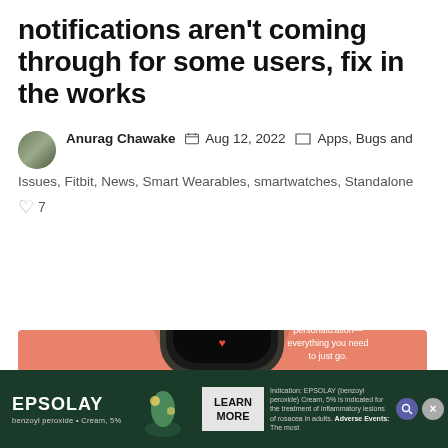notifications aren't coming through for some users, fix in the works
Anurag Chawake  Aug 12, 2022  Apps, Bugs and Issues, Fitbit, News, Smart Wearables, smartwatches, Standalone
♡7
[Figure (photo): Fitbit smartwatch product image on salmon/coral colored background showing time 12:58 with text 'Motivation. Inspiration. personalization— everything you need to just go.']
[Figure (advertisement): EPSOLAY advertisement banner with dark green background, logo, product image, LEARN MORE button, and fine print about indication and adverse events]